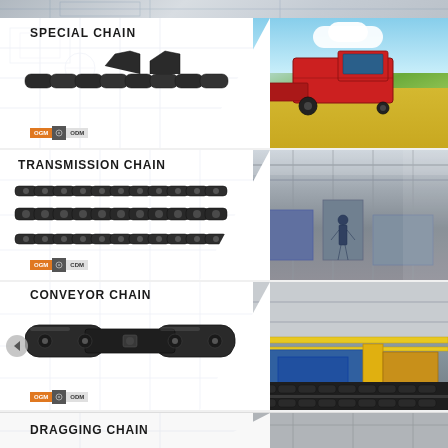[Figure (photo): Top strip showing engineering drawing/blueprint background]
[Figure (photo): Special Chain section: shows special agricultural chain parts on left with blueprint sketch overlay, and red combine harvester in wheat field on right. OGM/ODM badge at bottom left.]
SPECIAL CHAIN
[Figure (photo): Transmission Chain section: shows triple-strand roller transmission chain on left with blueprint sketch overlay, industrial factory/manufacturing floor on right. OGM/ODM badge at bottom left.]
TRANSMISSION CHAIN
[Figure (photo): Conveyor Chain section: shows heavy duty conveyor chain link on left with blueprint sketch overlay, industrial conveyor machinery/equipment on right. OGM/ODM badge at bottom left. Navigation back arrow on left edge.]
CONVEYOR CHAIN
[Figure (photo): Dragging Chain section (partially visible): shows dragging chain part on left, industrial machinery on right.]
DRAGGING CHAIN